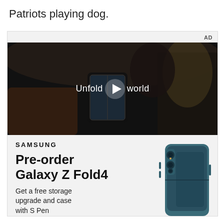Patriots playing dog.
[Figure (screenshot): Samsung Galaxy Z Fold4 advertisement with video thumbnail showing a woman holding the folded phone in a car, with 'Unfold your world' text and play button overlay. Below the video: Samsung logo, 'Pre-order Galaxy Z Fold4', 'Get a free storage upgrade and case with S Pen']
AD